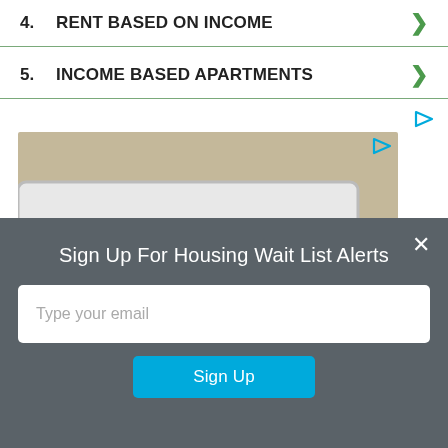4. RENT BASED ON INCOME
5. INCOME BASED APARTMENTS
[Figure (photo): A hand with manicured purple nails pointing at a red registration sticker '20' on a license plate that reads '479A' with text 'le Collector' visible. Advertisement image with caption 'New Policy For \'Senior Drivers\'']
Sign Up For Housing Wait List Alerts
Type your email
Sign Up